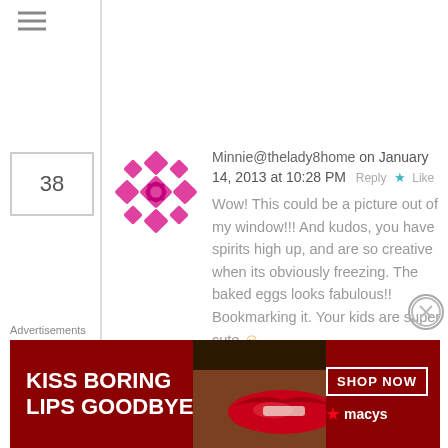[Figure (other): Hamburger/menu icon (three horizontal lines) top left]
38
[Figure (logo): Pink/magenta geometric diamond-pattern avatar for Minnie@thelady8home]
Minnie@thelady8home on January 14, 2013 at 10:28 PM  Reply ★ Like
Wow! This could be a picture out of my window!!! And kudos, you have spirits high up, and are so creative when its obviously freezing. The baked eggs looks fabulous!! Bookmarking it. Your kids are super cute 🙂
39
[Figure (other): Broken/loading image placeholder for Jessica Maher avatar]
Jessica Maher (@kbelleicious) on January 14, 2013 at 11:16 PM
Advertisements
[Figure (other): Macy's advertisement banner: KISS BORING LIPS GOODBYE SHOP NOW macys star logo on dark red background with lips photo]